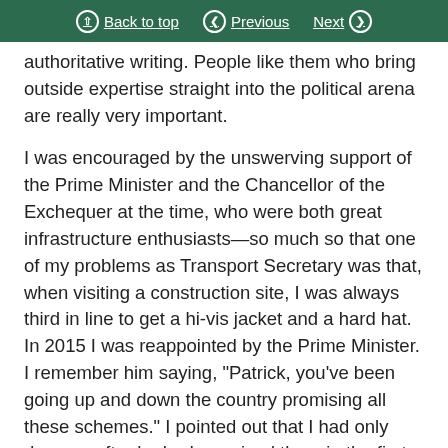Back to top | Previous | Next
authoritative writing. People like them who bring outside expertise straight into the political arena are really very important.
I was encouraged by the unswerving support of the Prime Minister and the Chancellor of the Exchequer at the time, who were both great infrastructure enthusiasts—so much so that one of my problems as Transport Secretary was that, when visiting a construction site, I was always third in line to get a hi-vis jacket and a hard hat. In 2015 I was reappointed by the Prime Minister. I remember him saying, "Patrick, you've been going up and down the country promising all these schemes." I pointed out that I had only done so after he had promised them in the first place, and that it would have been difficult...